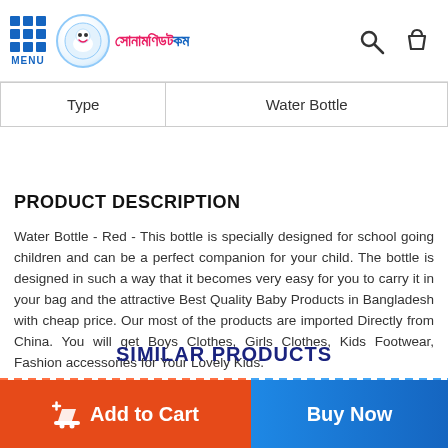MENU | সোনামণিডট.কম header with search and cart icons
| Type | Water Bottle |
| --- | --- |
PRODUCT DESCRIPTION
Water Bottle - Red - This bottle is specially designed for school going children and can be a perfect companion for your child. The bottle is designed in such a way that it becomes very easy for you to carry it in your bag and the attractive Best Quality Baby Products in Bangladesh with cheap price. Our most of the products are imported Directly from China. You will get Boys Clothes, Girls Clothes, Kids Footwear, Fashion accessories for Your Lovely Kids.
SIMILAR PRODUCTS